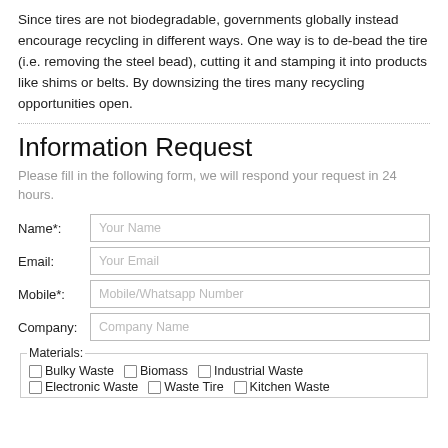Since tires are not biodegradable, governments globally instead encourage recycling in different ways. One way is to de-bead the tire (i.e. removing the steel bead), cutting it and stamping it into products like shims or belts. By downsizing the tires many recycling opportunities open.
Information Request
Please fill in the following form, we will respond your request in 24 hours.
| Field | Placeholder |
| --- | --- |
| Name*: | Your Name |
| Email: | Your Email |
| Mobile*: | Mobile/Whatsapp Number |
| Company: | Company Name |
Materials: Bulky Waste, Biomass, Industrial Waste, Electronic Waste, Waste Tire, Kitchen Waste